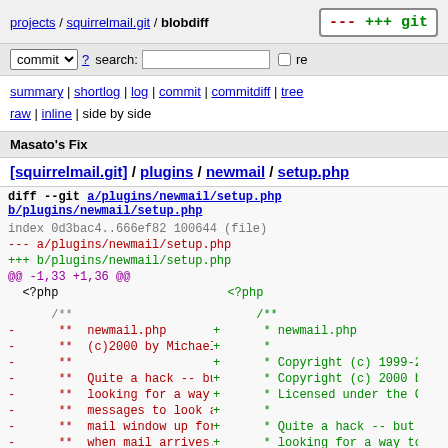projects / squirrelmail.git / blobdiff
commit ? search: re
summary | shortlog | log | commit | commitdiff | tree
raw | inline | side by side
Masato's Fix
[squirrelmail.git] / plugins / newmail / setup.php
diff --git a/plugins/newmail/setup.php b/plugins/newmail/setup.php
index 0d3bac4..666ef82 100644 (file)
--- a/plugins/newmail/setup.php
+++ b/plugins/newmail/setup.php
@@ -1,33 +1,36 @@
 <?php
     /**
-    **  newmail.php
-    **  (c)2000 by Michael H
-    **
-    **  Quite a hack -- but
-    **  looking for a way to
-    **  messages to look at
-    **  mail window up for 
-    **  when mail arrives.
-    **